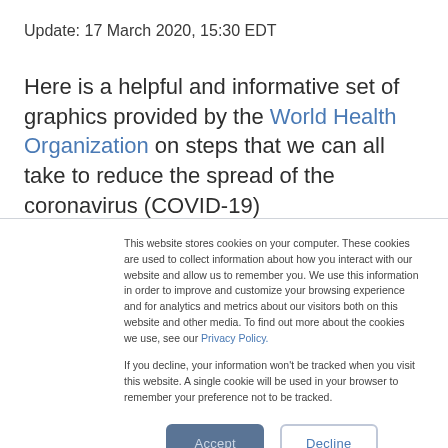Update: 17 March 2020, 15:30 EDT
Here is a helpful and informative set of graphics provided by the World Health Organization on steps that we can all take to reduce the spread of the coronavirus (COVID-19)
This website stores cookies on your computer. These cookies are used to collect information about how you interact with our website and allow us to remember you. We use this information in order to improve and customize your browsing experience and for analytics and metrics about our visitors both on this website and other media. To find out more about the cookies we use, see our Privacy Policy.

If you decline, your information won't be tracked when you visit this website. A single cookie will be used in your browser to remember your preference not to be tracked.